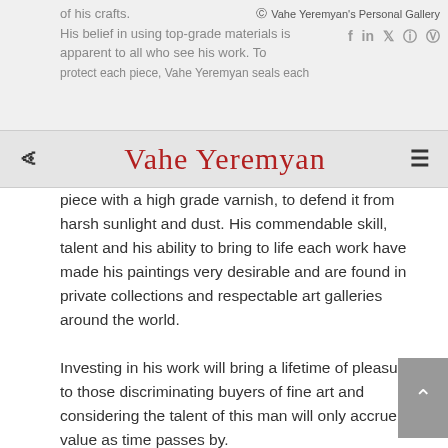Vahe Yeremyan's Personal Gallery
of his crafts.
His belief in using top-grade materials is apparent to all who see his work. To protect each piece, Vahe Yeremyan seals each piece with a high grade varnish, to defend it from harsh sunlight and dust. His commendable skill, talent and his ability to bring to life each work have made his paintings very desirable and are found in private collections and respectable art galleries around the world.
Investing in his work will bring a lifetime of pleasure to those discriminating buyers of fine art and considering the talent of this man will only accrue in value as time passes by.